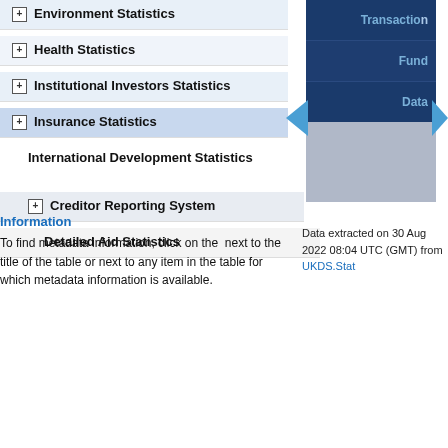+ Environment Statistics
+ Health Statistics
+ Institutional Investors Statistics
+ Insurance Statistics
International Development Statistics
+ Creditor Reporting System
Detailed Aid Statistics
[Figure (screenshot): Right panel showing dark blue blocks labeled Transaction, Fund, Data and a gray block below, with left and right blue arrows]
Data extracted on 30 Aug 2022 08:04 UTC (GMT) from UKDS.Stat
Information
To find metadata information, click on the next to the title of the table or next to any item in the table for which metadata information is available.